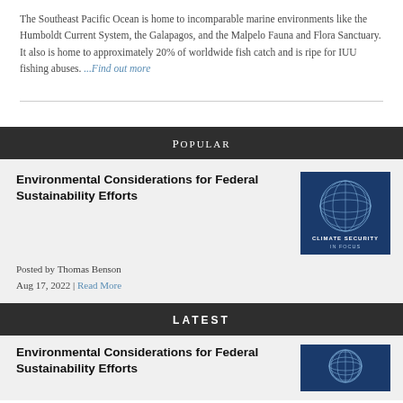The Southeast Pacific Ocean is home to incomparable marine environments like the Humboldt Current System, the Galapagos, and the Malpelo Fauna and Flora Sanctuary. It also is home to approximately 20% of worldwide fish catch and is ripe for IUU fishing abuses. ...Find out more
Popular
Environmental Considerations for Federal Sustainability Efforts
Posted by Thomas Benson
Aug 17, 2022 | Read More
[Figure (illustration): Blue globe illustration with grid lines and text 'CLIMATE SECURITY IN FOCUS']
Latest
Environmental Considerations for Federal Sustainability Efforts